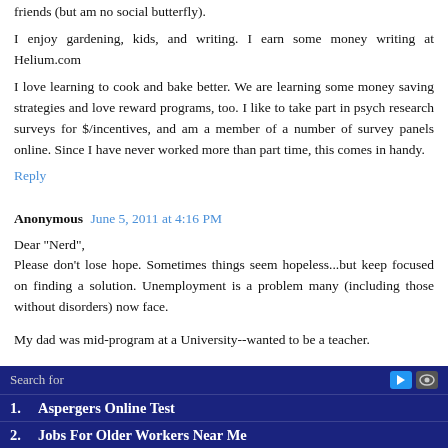friends (but am no social butterfly).
I enjoy gardening, kids, and writing. I earn some money writing at Helium.com
I love learning to cook and bake better. We are learning some money saving strategies and love reward programs, too. I like to take part in psych research surveys for $/incentives, and am a member of a number of survey panels online. Since I have never worked more than part time, this comes in handy.
Reply
Anonymous June 5, 2011 at 4:16 PM
Dear "Nerd",
Please don't lose hope. Sometimes things seem hopeless...but keep focused on finding a solution. Unemployment is a problem many (including those without disorders) now face.
My dad was mid-program at a University--wanted to be a teacher.
Search for
1. Aspergers Online Test
2. Jobs For Older Workers Near Me